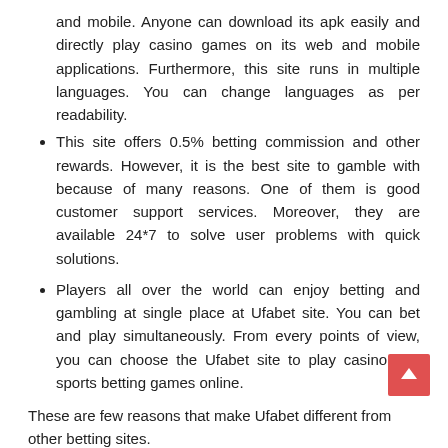and mobile. Anyone can download its apk easily and directly play casino games on its web and mobile applications. Furthermore, this site runs in multiple languages. You can change languages as per readability.
This site offers 0.5% betting commission and other rewards. However, it is the best site to gamble with because of many reasons. One of them is good customer support services. Moreover, they are available 24*7 to solve user problems with quick solutions.
Players all over the world can enjoy betting and gambling at single place at Ufabet site. You can bet and play simultaneously. From every points of view, you can choose the Ufabet site to play casino and sports betting games online.
These are few reasons that make Ufabet different from other betting sites.
How to register with Ufabet?